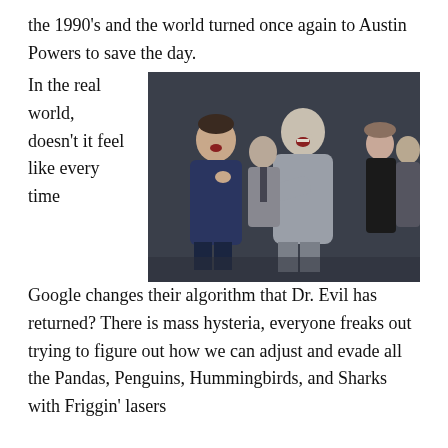the 1990's and the world turned once again to Austin Powers to save the day.
In the real world, doesn't it feel like every time
[Figure (photo): A still from the Austin Powers movie showing Dr. Evil and other characters in a scene together.]
Google changes their algorithm that Dr. Evil has returned? There is mass hysteria, everyone freaks out trying to figure out how we can adjust and evade all the Pandas, Penguins, Hummingbirds, and Sharks with Friggin' lasers